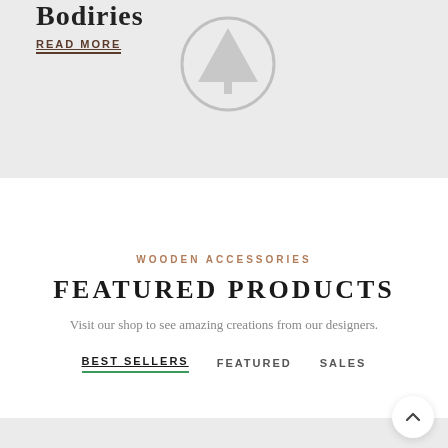Bodiries
READ MORE
[Figure (illustration): Circular icon with a pine tree silhouette pointing up, light gray outline style]
WOODEN ACCESSORIES
FEATURED PRODUCTS
Visit our shop to see amazing creations from our designers.
BEST SELLERS
FEATURED
SALES